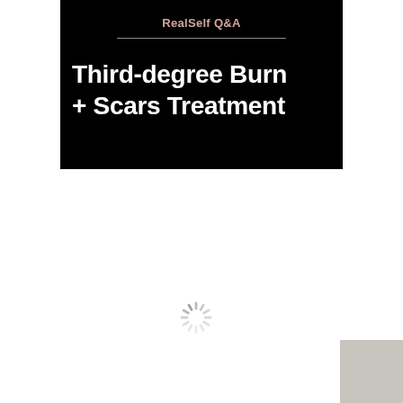RealSelf Q&A
Third-degree Burn + Scars Treatment
[Figure (other): Loading spinner icon, gray radial dashes indicating content is loading]
[Figure (other): Gray decorative square in bottom-right corner]